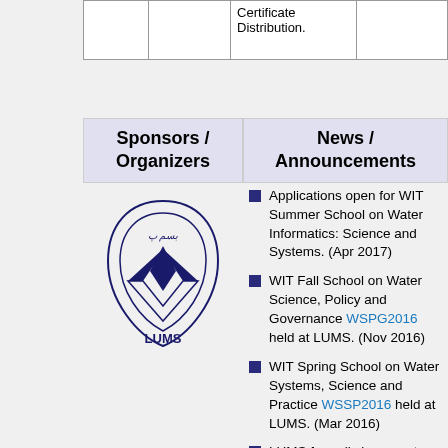|  |  |  |  |
| --- | --- | --- | --- |
|  |  | Certificate Distribution. |  |
| Sponsors / Organizers | News / Announcements |
| --- | --- |
[Figure (logo): LUMS university logo — stylized diamond/lotus shape in dark blue with text LUMS below]
Applications open for WIT Summer School on Water Informatics: Science and Systems. (Apr 2017)
WIT Fall School on Water Science, Policy and Governance WSPG2016 held at LUMS. (Nov 2016)
WIT Spring School on Water Systems, Science and Practice WSSP2016 held at LUMS. (Mar 2016)
LUMS formally inaugurates the Center...